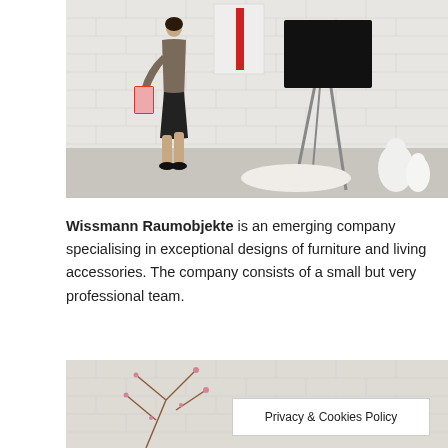[Figure (photo): A woman walking in a white brick-walled room, carrying a magazine, past a large black monitor on a tripod easel. A white sheepskin rug on the floor, decorative white rounded figurines to the right, and a framed red artwork on the wall.]
Wissmann Raumobjekte is an emerging company specialising in exceptional designs of furniture and living accessories. The company consists of a small but very professional team.
[Figure (photo): Partial view of a second photo showing branches with small flowers/buds against a white brick wall background, with a Privacy & Cookies Policy banner overlay.]